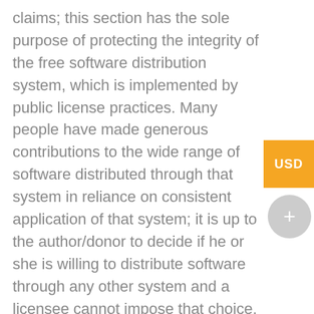claims; this section has the sole purpose of protecting the integrity of the free software distribution system, which is implemented by public license practices. Many people have made generous contributions to the wide range of software distributed through that system in reliance on consistent application of that system; it is up to the author/donor to decide if he or she is willing to distribute software through any other system and a licensee cannot impose that choice.
This section is intended to make thoroughly clear what is believed to be a consequence of the rest of this License.
8. If the distribution and/or use of the Program is restricted in certain countries either by